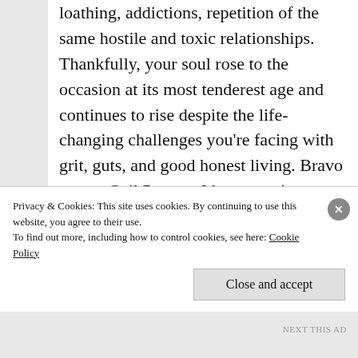loathing, addictions, repetition of the same hostile and toxic relationships. Thankfully, your soul rose to the occasion at its most tenderest age and continues to rise despite the life-changing challenges you’re facing with grit, guts, and good honest living. Bravo to you Gail Paynes. I know you’re not looking for accolades but you truly deserve a standing “o” for everything you’ve refused to believe about yourself –
Privacy & Cookies: This site uses cookies. By continuing to use this website, you agree to their use.
To find out more, including how to control cookies, see here: Cookie Policy